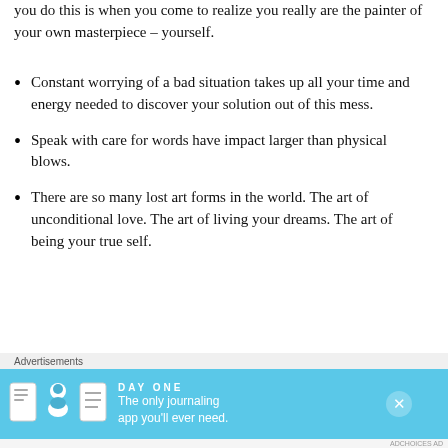you do this is when you come to realize you really are the painter of your own masterpiece – yourself.
Constant worrying of a bad situation takes up all your time and energy needed to discover your solution out of this mess.
Speak with care for words have impact larger than physical blows.
There are so many lost art forms in the world. The art of unconditional love. The art of living your dreams. The art of being your true self.
[Figure (screenshot): Advertisement banner for DAY ONE journaling app with blue gradient background, icons of a journal, person, and list, and tagline 'The only journaling app you'll ever need.']